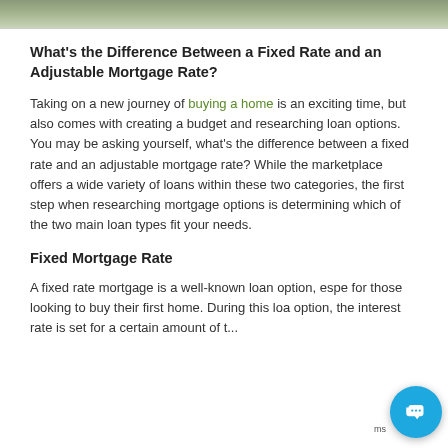[Figure (photo): Partial view of a photo at the top of the page, showing a blurred outdoor/nature scene]
What's the Difference Between a Fixed Rate and an Adjustable Mortgage Rate?
Taking on a new journey of buying a home is an exciting time, but also comes with creating a budget and researching loan options. You may be asking yourself, what's the difference between a fixed rate and an adjustable mortgage rate? While the marketplace offers a wide variety of loans within these two categories, the first step when researching mortgage options is determining which of the two main loan types fit your needs.
Fixed Mortgage Rate
A fixed rate mortgage is a well-known loan option, espe for those looking to buy their first home. During this loa option, the interest rate is set for a certain amount of t...